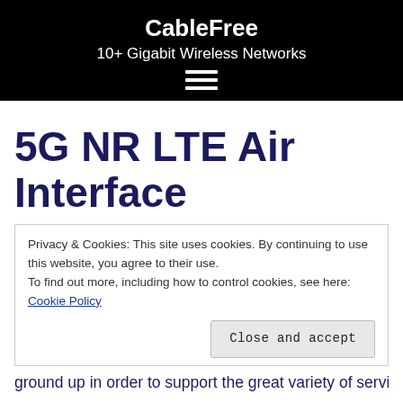CableFree
10+ Gigabit Wireless Networks
5G NR LTE Air Interface
Privacy & Cookies: This site uses cookies. By continuing to use this website, you agree to their use.
To find out more, including how to control cookies, see here: Cookie Policy
Close and accept
ground up in order to support the great variety of services